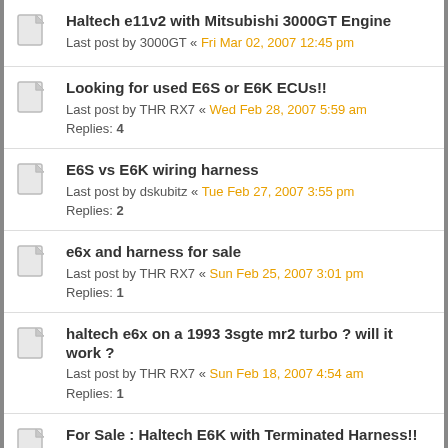Haltech e11v2 with Mitsubishi 3000GT Engine
Last post by 3000GT « Fri Mar 02, 2007 12:45 pm
Looking for used E6S or E6K ECUs!!
Last post by THR RX7 « Wed Feb 28, 2007 5:59 am
Replies: 4
E6S vs E6K wiring harness
Last post by dskubitz « Tue Feb 27, 2007 3:55 pm
Replies: 2
e6x and harness for sale
Last post by THR RX7 « Sun Feb 25, 2007 3:01 pm
Replies: 1
haltech e6x on a 1993 3sgte mr2 turbo ? will it work ?
Last post by THR RX7 « Sun Feb 18, 2007 4:54 am
Replies: 1
For Sale : Haltech E6K with Terminated Harness!!